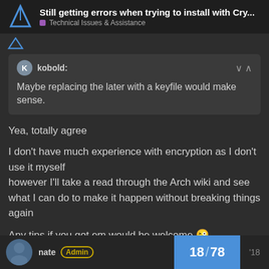Still getting errors when trying to install with Cry... | Technical Issues & Assistance
kobold: Maybe replacing the later with a keyfile would make sense.
Yea, totally agree
I don't have much experience with encryption as I don't use it myself
however I'll take a read through the Arch wiki and see what I can do to make it happen without breaking things again
Any tips if you got em would be welcome 😜
nate Admin | 18 / 78 | '18